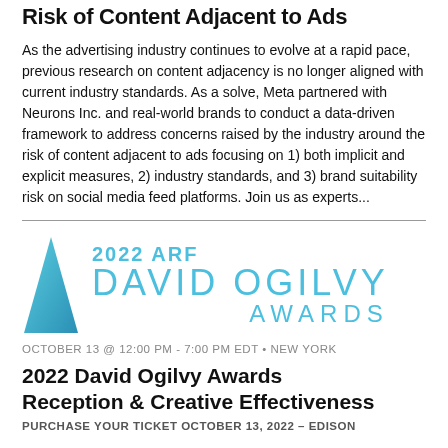Risk of Content Adjacent to Ads
As the advertising industry continues to evolve at a rapid pace, previous research on content adjacency is no longer aligned with current industry standards. As a solve, Meta partnered with Neurons Inc. and real-world brands to conduct a data-driven framework to address concerns raised by the industry around the risk of content adjacent to ads focusing on 1) both implicit and explicit measures, 2) industry standards, and 3) brand suitability risk on social media feed platforms. Join us as experts...
[Figure (logo): 2022 ARF David Ogilvy Awards logo with teal triangle icon and teal text]
OCTOBER 13 @ 12:00 PM - 7:00 PM EDT • NEW YORK
2022 David Ogilvy Awards Reception & Creative Effectiveness
PURCHASE YOUR TICKET OCTOBER 13, 2022 – EDISON